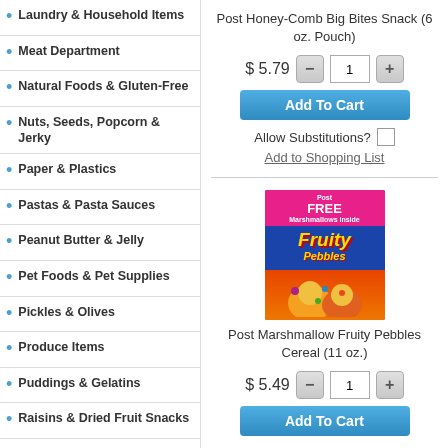Laundry & Household Items
Meat Department
Natural Foods & Gluten-Free
Nuts, Seeds, Popcorn & Jerky
Paper & Plastics
Pastas & Pasta Sauces
Peanut Butter & Jelly
Pet Foods & Pet Supplies
Pickles & Olives
Produce Items
Puddings & Gelatins
Raisins & Dried Fruit Snacks
Salad Dressings & Salad Toppings
Salty Snacks & Dips
Seasonal & Limited Edition Items
Post Honey-Comb Big Bites Snack (6 oz. Pouch)
$ 5.79
Add To Cart
Allow Substitutions?
Add to Shopping List
[Figure (photo): Post Marshmallow Fruity Pebbles Cereal box product image]
Post Marshmallow Fruity Pebbles Cereal (11 oz.)
$ 5.49
Add To Cart